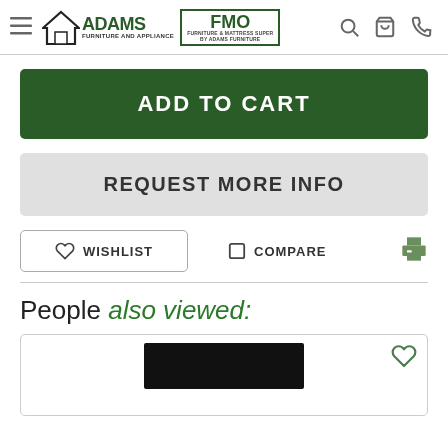Adams Furniture and Appliance / FMO - navigation header with hamburger menu, logo, search, cart, phone icons
ADD TO CART
REQUEST MORE INFO
WISHLIST
COMPARE
People also viewed:
[Figure (screenshot): Product card with dark appliance image and heart/wishlist icon]